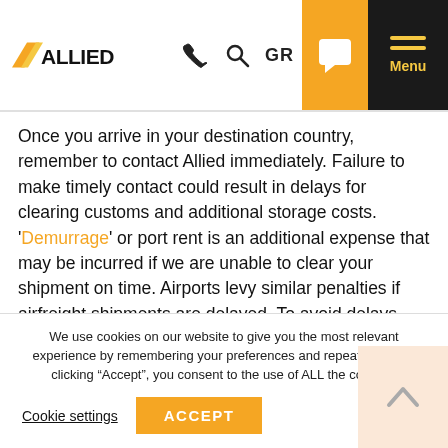Allied - The Careful Movers | GR | Menu
Once you arrive in your destination country, remember to contact Allied immediately. Failure to make timely contact could result in delays for clearing customs and additional storage costs. 'Demurrage' or port rent is an additional expense that may be incurred if we are unable to clear your shipment on time. Airports levy similar penalties if airfreight shipments are delayed. To avoid delays and additional costs, it is important to make contact with the local Allied, The Careful Movers office as soon as you arrive.
We use cookies on our website to give you the most relevant experience by remembering your preferences and repeat visits. By clicking “Accept”, you consent to the use of ALL the cookies.
Cookie settings | ACCEPT